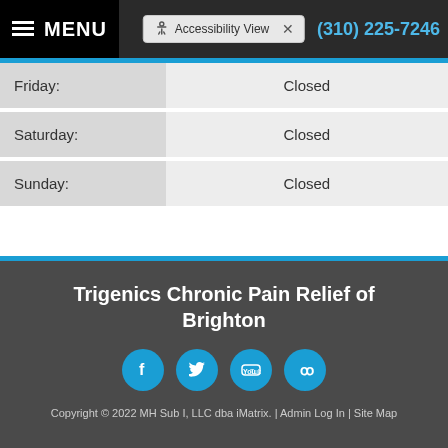MENU | Accessibility View | (310) 225-7246
| Day | Hours |
| --- | --- |
| Friday: | Closed |
| Saturday: | Closed |
| Sunday: | Closed |
Trigenics Chronic Pain Relief of Brighton
[Figure (other): Social media icons: Facebook, Twitter, YouTube, Yelp]
Copyright © 2022 MH Sub I, LLC dba iMatrix. | Admin Log In | Site Map